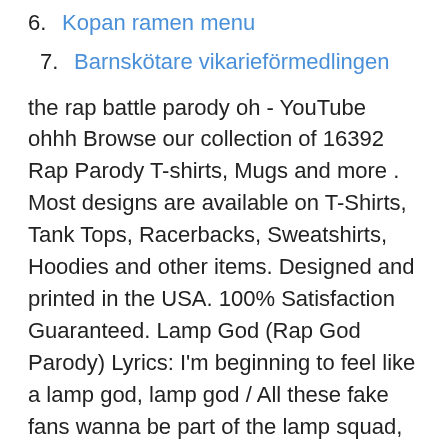6. Kopan ramen menu
7. Barnskötare vikarieförmedlingen
the rap battle parody oh - YouTube ohhh Browse our collection of 16392 Rap Parody T-shirts, Mugs and more . Most designs are available on T-Shirts, Tank Tops, Racerbacks, Sweatshirts, Hoodies and other items. Designed and printed in the USA. 100% Satisfaction Guaranteed. Lamp God (Rap God Parody) Lyrics: I'm beginning to feel like a lamp god, lamp god / All these fake fans wanna be part of the lamp squad, lamp squad / Now who thinks their bulbs are bright enough Hundreds of people are buzzing online about a new parody rap called "Welcome to Windsor" in which Toronto-based entertainer Mucho Habimana — better known as MuchoTV, did the role of front the Rap Battle